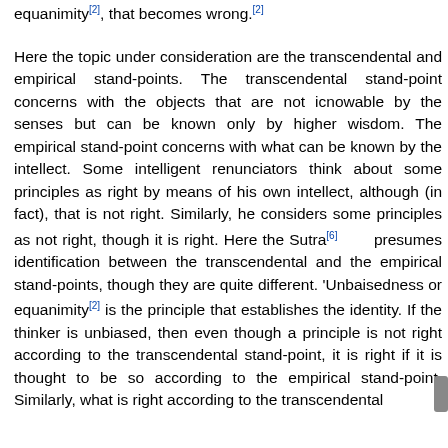equanimity[2], that becomes wrong.[2]
Here the topic under consideration are the transcendental and empirical stand-points. The transcendental stand-point concerns with the objects that are not icnowable by the senses but can be known only by higher wisdom. The empirical stand-point concerns with what can be known by the intellect. Some intelligent renunciators think about some principles as right by means of his own intellect, although (in fact), that is not right. Similarly, he considers some principles as not right, though it is right. Here the Sutra[6] presumes identification between the transcendental and the empirical stand-points, though they are quite different. 'Unbaisedness or equanimity[2] is the principle that establishes the identity. If the thinker is unbiased, then even though a principle is not right according to the transcendental stand-point, it is right if it is thought to be so according to the empirical stand-point. Similarly, what is right according to the transcendental